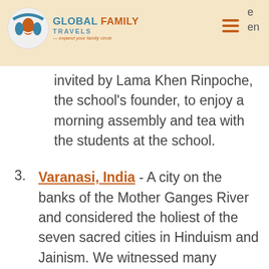Global Family Travels — expand your family circle
invited by Lama Khen Rinpoche, the school's founder, to enjoy a morning assembly and tea with the students at the school.
3. Varanasi, India - A city on the banks of the Mother Ganges River and considered the holiest of the seven sacred cities in Hinduism and Jainism. We witnessed many people walking on the ghats (steps), bathing, and swimming in the river. Many families were paying their respect to loved ones being cremated. In Hindu